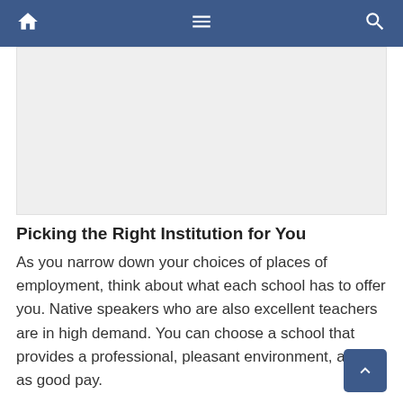Navigation bar with home, menu, and search icons
[Figure (other): Advertisement or image placeholder area, light gray background]
Picking the Right Institution for You
As you narrow down your choices of places of employment, think about what each school has to offer you. Native speakers who are also excellent teachers are in high demand. You can choose a school that provides a professional, pleasant environment, as well as good pay.
When the schools interview you, remember that you,